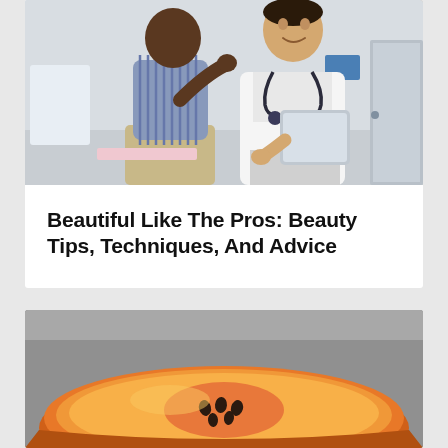[Figure (photo): A patient sitting on an examination table talking to a doctor in a white coat holding a tablet in a medical office]
Beautiful Like The Pros: Beauty Tips, Techniques, And Advice
[Figure (photo): A close-up photo of a sliced papaya or orange fruit showing the inside flesh and seeds on a gray background]